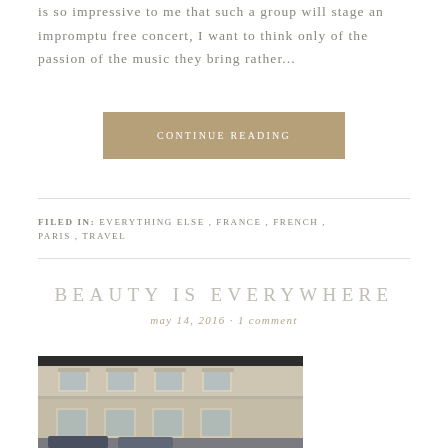is so impressive to me that such a group will stage an impromptu free concert, I want to think only of the passion of the music they bring rather...
CONTINUE READING
FILED IN: EVERYTHING ELSE, FRANCE, FRENCH, PARIS, TRAVEL
BEAUTY IS EVERYWHERE
may 14, 2016 · 1 comment
[Figure (photo): Photograph of a Parisian building facade with classical architectural details, windows with pediments, and cars partially visible at the bottom]